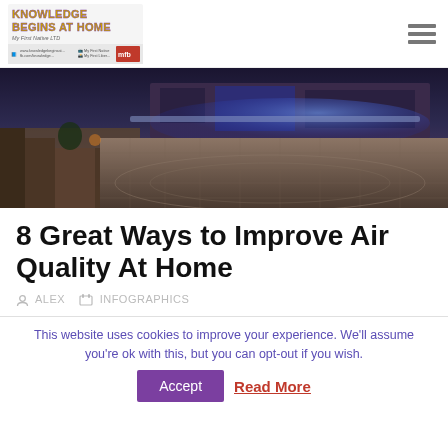[Figure (logo): Knowledge Begins At Home website logo with colorful stylized text and social media icons strip at bottom]
[Figure (photo): Hero image showing a residential outdoor area with a pool/patio illuminated at dusk with warm and blue lights]
8 Great Ways to Improve Air Quality At Home
ALEX   INFOGRAPHICS
This website uses cookies to improve your experience. We'll assume you're ok with this, but you can opt-out if you wish.
Accept   Read More